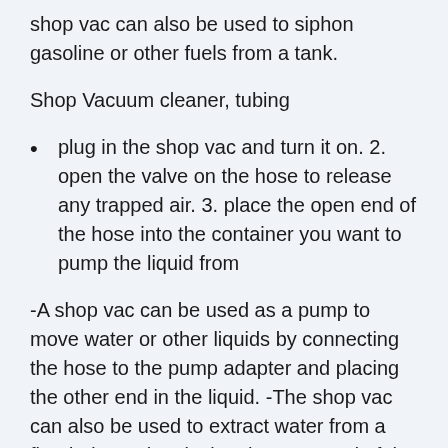shop vac can also be used to siphon gasoline or other fuels from a tank.
Shop Vacuum cleaner, tubing
plug in the shop vac and turn it on. 2. open the valve on the hose to release any trapped air. 3. place the open end of the hose into the container you want to pump the liquid from
-A shop vac can be used as a pump to move water or other liquids by connecting the hose to the pump adapter and placing the other end in the liquid. -The shop vac can also be used to extract water from a flooded area by placing the open end of the hose into the water and turning on the